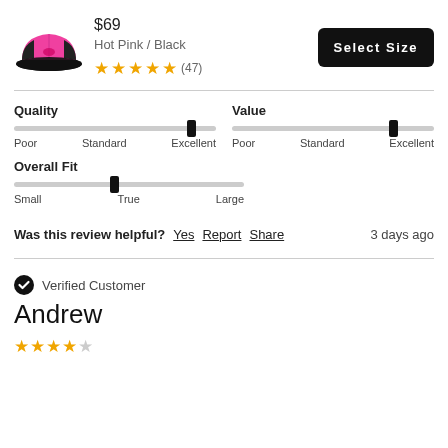[Figure (photo): Hot pink and black trucker cap product image]
$69
Hot Pink / Black
★★★★★ (47)
Select Size
Quality
Poor  Standard  Excellent
Value
Poor  Standard  Excellent
Overall Fit
Small  True  Large
Was this review helpful? Yes  Report  Share  3 days ago
Verified Customer
Andrew